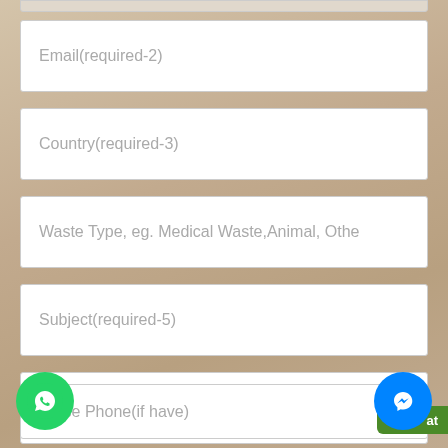Email(required-2)
Country(required-3)
Waste Type, eg. Medical Waste,Animal, Othe
Subject(required-5)
Short Message(required-6)
Office Phone(if have)
[Figure (logo): WhatsApp icon - green circular button with phone handset]
[Figure (logo): Facebook Messenger icon - blue circular button with lightning bolt/chat symbol]
at